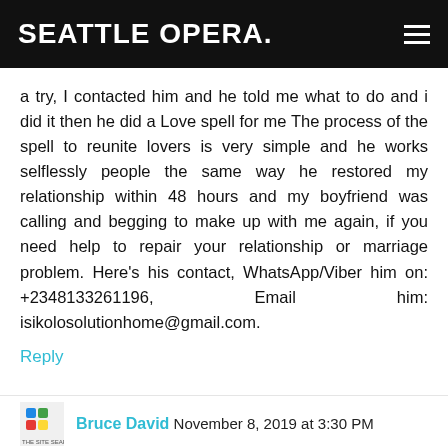SEATTLE OPERA.
a try, I contacted him and he told me what to do and i did it then he did a Love spell for me The process of the spell to reunite lovers is very simple and he works selflessly people the same way he restored my relationship within 48 hours and my boyfriend was calling and begging to make up with me again, if you need help to repair your relationship or marriage problem. Here's his contact, WhatsApp/Viber him on: +2348133261196, Email him: isikolosolutionhome@gmail.com.
Reply
Bruce David November 8, 2019 at 3:30 PM